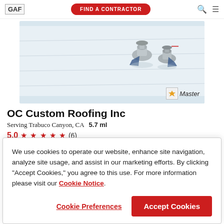GAF | FIND A CONTRACTOR
[Figure (photo): Flat rooftop with white membrane and metal pipe/vent fixtures, with a 'Master' contractor badge overlay in the bottom right]
OC Custom Roofing Inc
Serving Trabuco Canyon, CA   5.7 ml
5.0 ★★★★★ (6)
MESSAGE US | (949) 431-2220 | VIEW PROFILE
We use cookies to operate our website, enhance site navigation, analyze site usage, and assist in our marketing efforts. By clicking "Accept Cookies," you agree to this use. For more information please visit our Cookie Notice.
Cookie Preferences | Accept Cookies